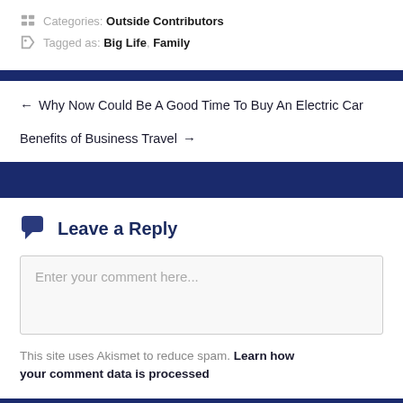Categories: Outside Contributors
Tagged as: Big Life, Family
← Why Now Could Be A Good Time To Buy An Electric Car
Benefits of Business Travel →
Leave a Reply
Enter your comment here...
This site uses Akismet to reduce spam. Learn how your comment data is processed